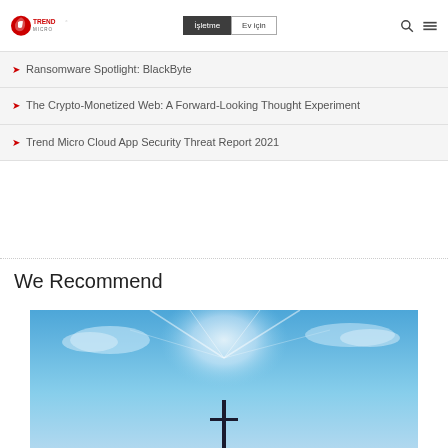Trend Micro | İşletme | Ev için
Ransomware Spotlight: BlackByte
The Crypto-Monetized Web: A Forward-Looking Thought Experiment
Trend Micro Cloud App Security Threat Report 2021
We Recommend
[Figure (photo): Blue sky with light rays and a dark vertical element at the bottom center]